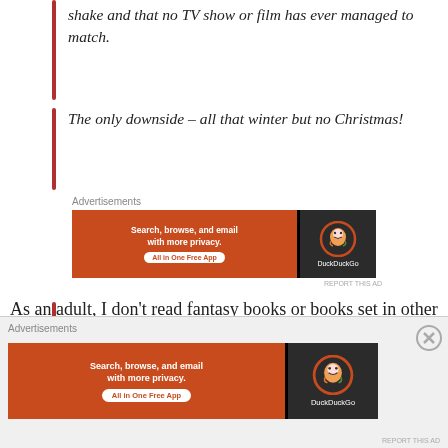shake and that no TV show or film has ever managed to match.
The only downside – all that winter but no Christmas!
[Figure (other): DuckDuckGo advertisement banner: 'Search, browse, and email with more privacy. All in One Free App']
As an adult, I don't read fantasy books or books set in other worlds very often but every now and again one catches my eye and imagination.
[Figure (other): DuckDuckGo advertisement banner (bottom overlay): 'Search, browse, and email with more privacy. All in One Free App']